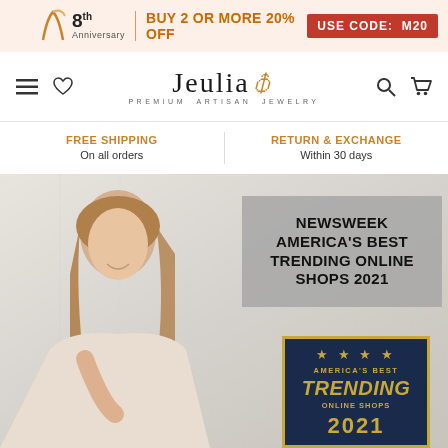8th Anniversary | BUY 2 OR MORE 20% OFF | USE CODE: M20
[Figure (logo): Jeulia Premium Artisan Jewelry logo with navigation icons (hamburger menu, heart, search, cart)]
FREE SHIPPING On all orders | RETURN & EXCHANGE Within 30 days
[Figure (photo): Hero banner: smiling blonde woman resting chin on hand, with Newsweek America's Best Trending Online Shops 2021 overlay text box and award badge]
NEWSWEEK AMERICA'S BEST TRENDING ONLINE SHOPS 2021
[Figure (infographic): America's Best Trending Online Shops 2021 award badge with gold stars on dark navy background with gold border]